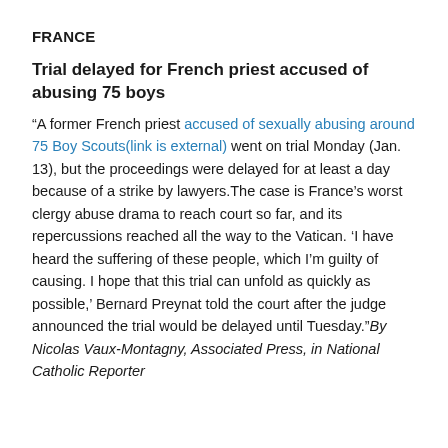FRANCE
Trial delayed for French priest accused of abusing 75 boys
“A former French priest accused of sexually abusing around 75 Boy Scouts(link is external) went on trial Monday (Jan. 13), but the proceedings were delayed for at least a day because of a strike by lawyers.The case is France’s worst clergy abuse drama to reach court so far, and its repercussions reached all the way to the Vatican. ‘I have heard the suffering of these people, which I’m guilty of causing. I hope that this trial can unfold as quickly as possible,’ Bernard Preynat told the court after the judge announced the trial would be delayed until Tuesday.”By Nicolas Vaux-Montagny, Associated Press, in National Catholic Reporter